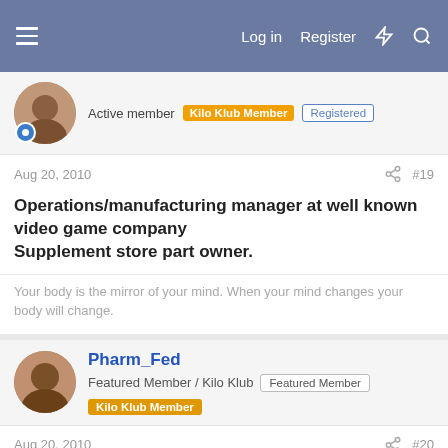Log in  Register
Active member  Kilo Klub Member  Registered
Aug 20, 2010  #19
Operations/manufacturing manager at well known video game company
Supplement store part owner.
Your body is the mirror of your mind. When your mind changes your body will change.
Pharm_Fed
Featured Member / Kilo Klub  Featured Member  Kilo Klub Member
Aug 20, 2010  #20
BMW Technician
All it takes, is all you've got.